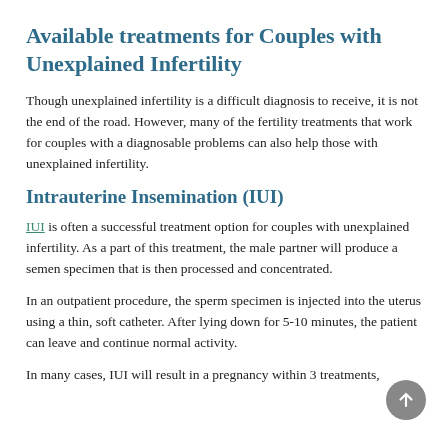Available treatments for Couples with Unexplained Infertility
Though unexplained infertility is a difficult diagnosis to receive, it is not the end of the road. However, many of the fertility treatments that work for couples with a diagnosable problems can also help those with unexplained infertility.
Intrauterine Insemination (IUI)
IUI is often a successful treatment option for couples with unexplained infertility. As a part of this treatment, the male partner will produce a semen specimen that is then processed and concentrated.
In an outpatient procedure, the sperm specimen is injected into the uterus using a thin, soft catheter. After lying down for 5-10 minutes, the patient can leave and continue normal activity.
In many cases, IUI will result in a pregnancy within 3 treatments,